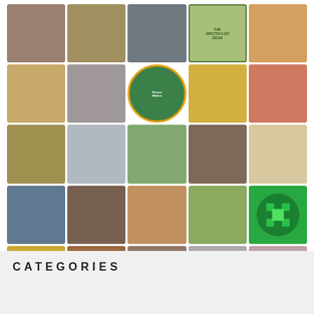[Figure (photo): A 5-column grid of approximately 35 circular/square avatar profile photos of various people, book covers, decorative quilt patterns, and icons on a white background.]
CATEGORIES